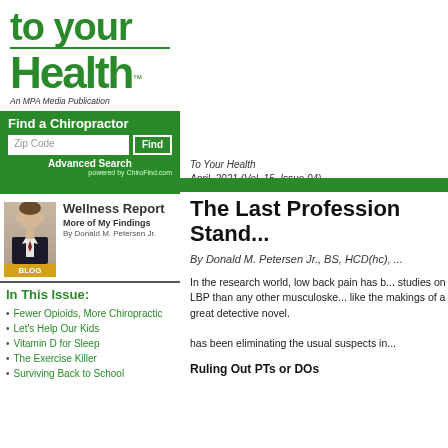to your Health™
An MPA Media Publication
Find a Chiropractor
Zip Code [Find]
Advanced Search
powered by ChiroFind.com
[Figure (photo): Photo of a man in a suit next to Wellness Report blog box with text 'More of My Findings' and 'By Donald M. Petersen Jr.' and a BLOG badge]
In This Issue:
Fewer Opioids, More Chiropractic
Let's Help Our Kids
Vitamin D for Sleep
The Exercise Killer
Surviving Back to School
To Your Health
April, 2021 (Vol. 15, Issue 04)
The Last Profession Stand...
By Donald M. Petersen Jr., BS, HCD(hc), ...
In the research world, low back pain has b... studies on LBP than any other musculoske... like the makings of a great detective novel.
has been eliminating the usual suspects in...
Ruling Out PTs or DOs